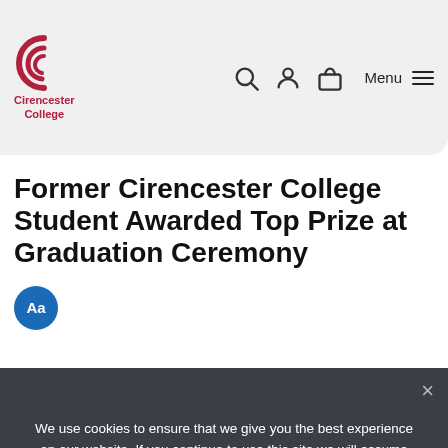[Figure (logo): Cirencester College logo — red spiral C mark with 'Cirencester College' text below]
Former Cirencester College Student Awarded Top Prize at Graduation Ceremony
[Figure (other): Blue circular 'Aa' accessibility button]
[Figure (other): Dark grey section with partial graduation cap image visible]
We use cookies to ensure that we give you the best experience on our website. If you continue to use this site we will assume that you are happy with it.